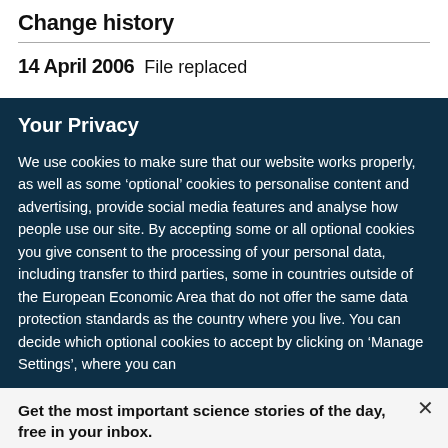Change history
14 April 2006  File replaced
Your Privacy
We use cookies to make sure that our website works properly, as well as some ‘optional’ cookies to personalise content and advertising, provide social media features and analyse how people use our site. By accepting some or all optional cookies you give consent to the processing of your personal data, including transfer to third parties, some in countries outside of the European Economic Area that do not offer the same data protection standards as the country where you live. You can decide which optional cookies to accept by clicking on ‘Manage Settings’, where you can
Get the most important science stories of the day, free in your inbox.
Sign up for Nature Briefing